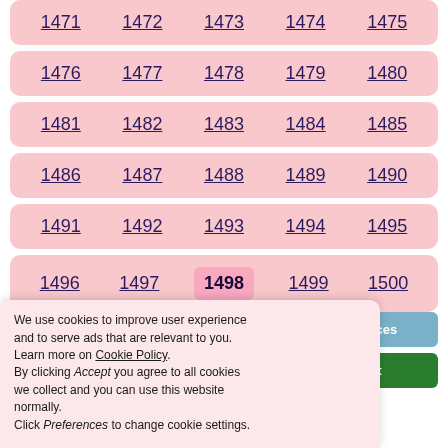1471 1472 1473 1474 1475
1476 1477 1478 1479 1480
1481 1482 1483 1484 1485
1486 1487 1488 1489 1490
1491 1492 1493 1494 1495
1496 1497 1498 1499 1500
1501 1502 1503 1504 1505
1506 1507 1508 1509 1510
We use cookies to improve user experience and to serve ads that are relevant to you. Learn more on Cookie Policy. By clicking Accept you agree to all cookies we collect and you can use this website normally. Click Preferences to change cookie settings.